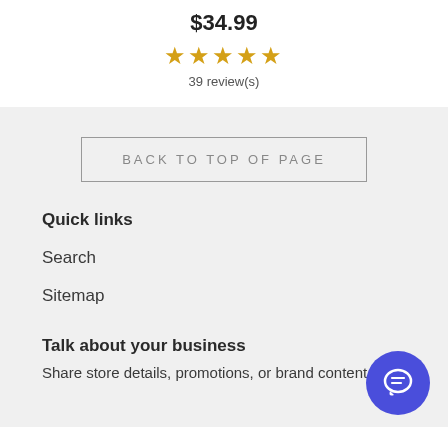$34.99
[Figure (other): 5 gold star rating icons]
39 review(s)
BACK TO TOP OF PAGE
Quick links
Search
Sitemap
Talk about your business
Share store details, promotions, or brand content